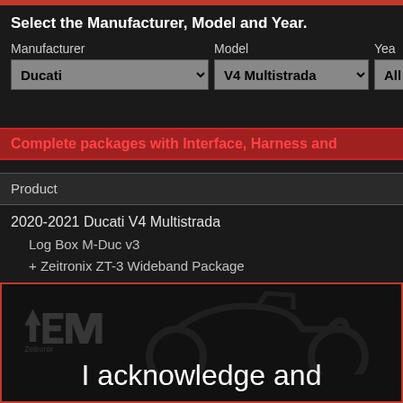Select the Manufacturer, Model and Year.
Manufacturer: Ducati | Model: V4 Multistrada | Year: All
Complete packages with Interface, Harness and
| Product |
| --- |
| 2020-2021 Ducati V4 Multistrada Log Box M-Duc v3 + Zeitronix ZT-3 Wideband Package |
[Figure (photo): Dark product/motorcycle image with Zeitronix logo watermark in top-left, showing a motorcycle silhouette in background]
I acknowledge and